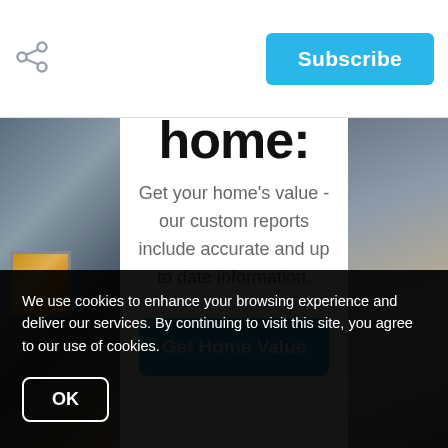[Figure (screenshot): Share icon on the left of the top navigation bar]
[Figure (screenshot): Subscribe button (cyan/blue) on the right of the top navigation bar]
home:
Get your home's value - our custom reports include accurate and up to date information.
[Figure (screenshot): Cyan 'Get Home Value' button partially visible]
[Figure (photo): House exterior photo showing grey siding on left and stone/wood facade on right]
We use cookies to enhance your browsing experience and deliver our services. By continuing to visit this site, you agree to our use of cookies.
[Figure (screenshot): OK button (white border, dark background) for cookie consent]